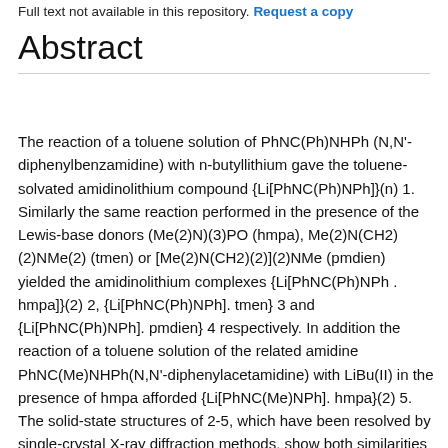Full text not available in this repository. Request a copy
Abstract
The reaction of a toluene solution of PhNC(Ph)NHPh (N,N'-diphenylbenzamidine) with n-butyllithium gave the toluene-solvated amidinolithium compound {Li[PhNC(Ph)NPh]}(n) 1. Similarly the same reaction performed in the presence of the Lewis-base donors (Me(2)N)(3)PO (hmpa), Me(2)N(CH2)(2)NMe(2) (tmen) or [Me(2)N(CH2)(2)](2)NMe (pmdien) yielded the amidinolithium complexes {Li[PhNC(Ph)NPh . hmpa]}(2) 2, {Li[PhNC(Ph)NPh]. tmen} 3 and {Li[PhNC(Ph)NPh]. pmdien} 4 respectively. In addition the reaction of a toluene solution of the related amidine PhNC(Me)NHPh(N,N'-diphenylacetamidine) with LiBu(II) in the presence of hmpa afforded {Li[PhNC(Me)NPh]. hmpa}(2) 5. The solid-state structures of 2-5, which have been resolved by single-crystal X-ray diffraction methods, show both similarities and differences